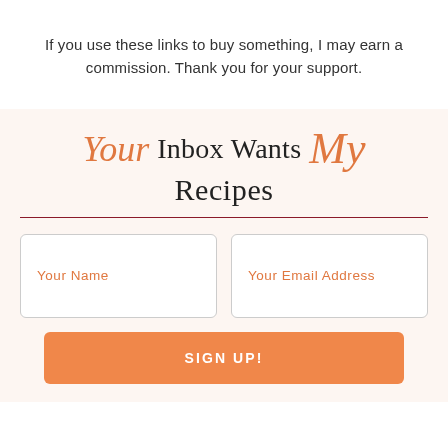If you use these links to buy something, I may earn a commission. Thank you for your support.
Your Inbox Wants My Recipes
[Figure (other): Email newsletter signup form with name and email address fields and a SIGN UP! button on a warm beige background]